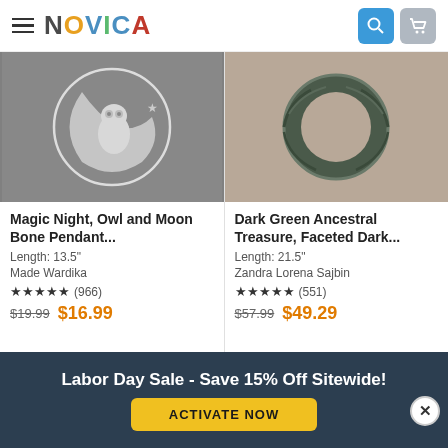NOVICA
[Figure (photo): Silver owl and moon bone pendant on gray background]
Magic Night, Owl and Moon Bone Pendant...
Length: 13.5"
Made Wardika
★★★★★ (966)
$19.99  $16.99
[Figure (photo): Dark green circular faceted ancestral treasure pendant on tan background]
Dark Green Ancestral Treasure, Faceted Dark...
Length: 21.5"
Zandra Lorena Sajbin
★★★★★ (551)
$57.99  $49.29
Labor Day Sale - Save 15% Off Sitewide!
ACTIVATE NOW